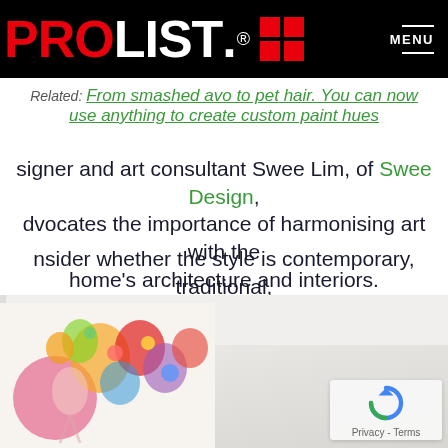PROLIST. [logo] MENU
Related: From smashed avo to pet hair. You can now use anything to create custom paint hues
signer and art consultant Swee Lim, of Swee Design, dvocates the importance of harmonising art with the home's architecture and interiors.
nsider whether the style is contemporary, traditional, imalist or busy, casual or glamorous," Lim says. "The d can also be determined by the function of the room.
[Figure (photo): Interior room photo showing a white-walled room with a colorful floral artwork hanging on the wall. The artwork features flowers, a pink circle, and a figure. The room is bright and minimal.]